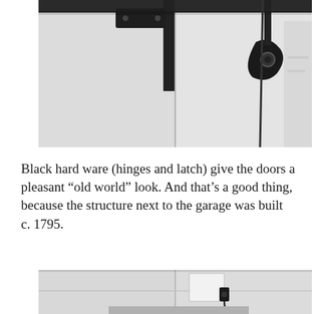[Figure (photo): Close-up photograph of black hardware (hinge and latch) mounted on white painted wooden garage doors against a white wall.]
Black hard ware (hinges and latch) give the doors a pleasant “old world” look. And that’s a good thing, because the structure next to the garage was built c. 1795.
[Figure (photo): Photograph of white garage doors with a black keypad/control panel and wiring visible on the door surface.]